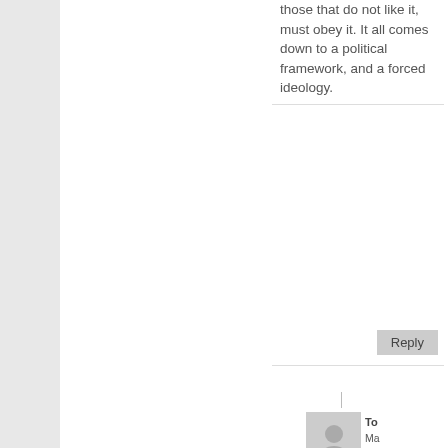those that do not like it, must obey it. It all comes down to a political framework, and a forced ideology.
Reply
To
Ma 29, 201 at 2:2 pm
And how does that stop laws from being passed and